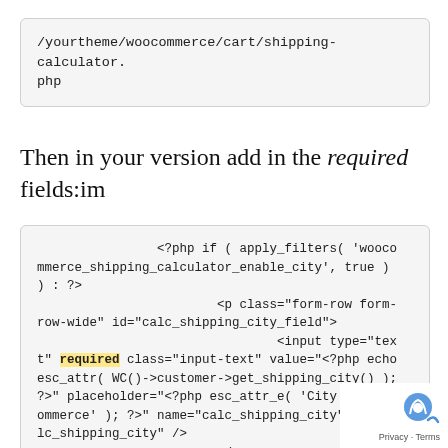/yourtheme/woocommerce/cart/shipping-calculator.php
Then in your version add in the required fields:im
<?php if ( apply_filters( 'woocommerce_shipping_calculator_enable_city', true ) ) : ?>
                                <p class="form-row form-row-wide" id="calc_shipping_city_field">
                                        <input type="text" required class="input-text" value="<?php echo esc_attr( WC()->customer->get_shipping_city() ); ?>" placeholder="<?php esc_attr_e( 'City', 'woocommerce' ); ?>" name="calc_shipping_city" id="calc_shipping_city" />
                                </p>
                        <?php endif; ?>